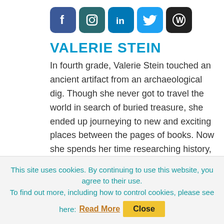[Figure (other): Social media icons row: Facebook (blue), Instagram (dark teal), LinkedIn (blue), Twitter (light blue), WordPress (black)]
VALERIE STEIN
In fourth grade, Valerie Stein touched an ancient artifact from an archaeological dig. Though she never got to travel the world in search of buried treasure, she ended up journeying to new and exciting places between the pages of books. Now she spends her time researching history, in museums and libraries, which is like archaeology but without the dirt. Valerie's
This site uses cookies. By continuing to use this website, you agree to their use.
To find out more, including how to control cookies, please see here: Read More  Close